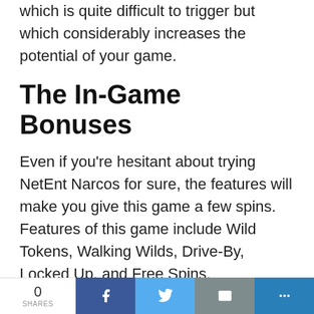which is quite difficult to trigger but which considerably increases the potential of your game.
The In-Game Bonuses
Even if you're hesitant about trying NetEnt Narcos for sure, the features will make you give this game a few spins. Features of this game include Wild Tokens, Walking Wilds, Drive-By, Locked Up, and Free Spins.
Starting with 10 free spins, you will enjoy the Drive-by feature for every spin. This
0 SHARES  [Facebook] [Twitter] [Mail] [More]